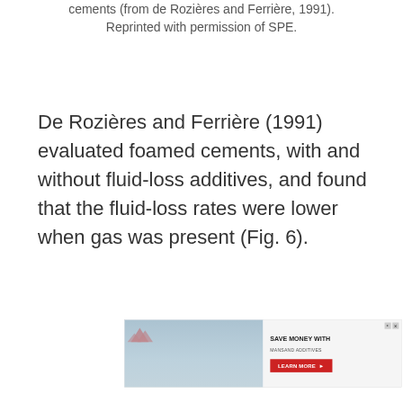cements (from de Rozières and Ferrière, 1991). Reprinted with permission of SPE.
De Rozières and Ferrière (1991) evaluated foamed cements, with and without fluid-loss additives, and found that the fluid-loss rates were lower when gas was present (Fig. 6).
[Figure (other): Advertisement for Acti-Gel by Mansand Additives. Left side shows a photo of a construction worker in orange vest working with concrete/aggregate material. Right side has text 'SAVE MONEY WITH MANSAND ADDITIVES' and a red 'LEARN MORE' button.]